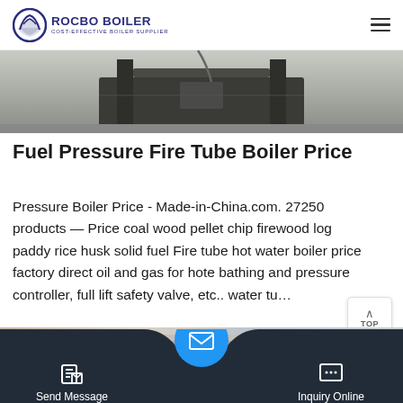[Figure (logo): Rocbo Boiler logo with circular blue icon and text 'ROCBO BOILER - COST-EFFECTIVE BOILER SUPPLIER']
[Figure (photo): Product photo showing the bottom portion of a fire tube boiler / industrial equipment on a grey surface]
Fuel Pressure Fire Tube Boiler Price
Pressure Boiler Price - Made-in-China.com. 27250 products — Price coal wood pellet chip firewood log paddy rice husk solid fuel Fire tube hot water boiler price factory direct oil and gas for hotel bathing and pressure controller, full lift safety valve, etc.. water tu…
[Figure (other): Green 'Get Price' button]
[Figure (photo): Partial bottom image strip showing industrial/boiler equipment]
Send Message  Inquiry Online